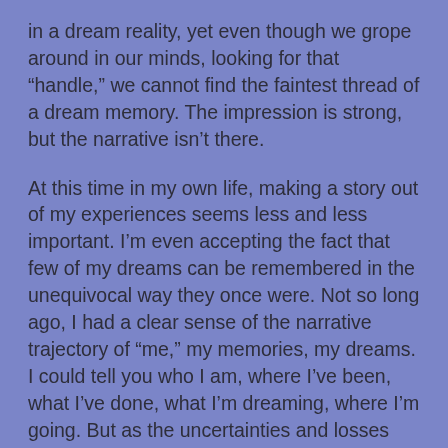in a dream reality, yet even though we grope around in our minds, looking for that “handle,” we cannot find the faintest thread of a dream memory. The impression is strong, but the narrative isn’t there.

At this time in my own life, making a story out of my experiences seems less and less important. I’m even accepting the fact that few of my dreams can be remembered in the unequivocal way they once were. Not so long ago, I had a clear sense of the narrative trajectory of “me,” my memories, my dreams. I could tell you who I am, where I’ve been, what I’ve done, what I’m dreaming, where I’m going. But as the uncertainties and losses mount, I’m losing the thread. Yes, I still know my own story, and it still interests me... but I don’t know where it’s going, and I’m not sure who I really am or what will become of me. I’m aware of death—that stark perspective reminding me that I will eventually be forgotten—yet also more aware of life. The kind of